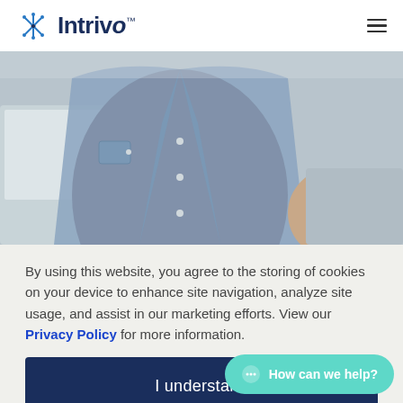[Figure (logo): Intrivo logo with asterisk/snowflake icon in blue and navy text reading Intrivo with TM mark]
[Figure (photo): Close-up photo of a person wearing a denim jacket over a dark shirt, with a laptop visible on the left side]
By using this website, you agree to the storing of cookies on your device to enhance site navigation, analyze site usage, and assist in our marketing efforts. View our Privacy Policy for more information.
I understand
How can we help?